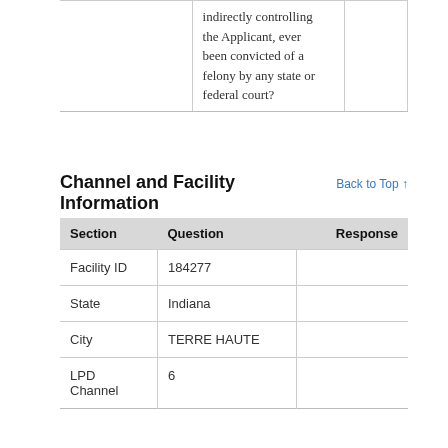|  | Question | Response |
| --- | --- | --- |
|  | indirectly controlling the Applicant, ever been convicted of a felony by any state or federal court? |  |
Channel and Facility Information
| Section | Question | Response |
| --- | --- | --- |
| Facility ID | 184277 |  |
| State | Indiana |  |
| City | TERRE HAUTE |  |
| LPD Channel | 6 |  |